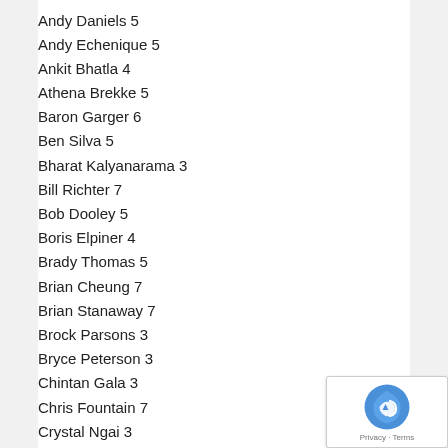Andy Daniels 5
Andy Echenique 5
Ankit Bhatla 4
Athena Brekke 5
Baron Garger 6
Ben Silva 5
Bharat Kalyanarama 3
Bill Richter 7
Bob Dooley 5
Boris Elpiner 4
Brady Thomas 5
Brian Cheung 7
Brian Stanaway 7
Brock Parsons 3
Bryce Peterson 3
Chintan Gala 3
Chris Fountain 7
Crystal Ngai 3
Dan Christiansen 3
Dana Gleason 5
Daniel Haddox 3
Daniel Prodan 4
Daniella Rich 5
Danielle Conway 4
Danny Chan 5